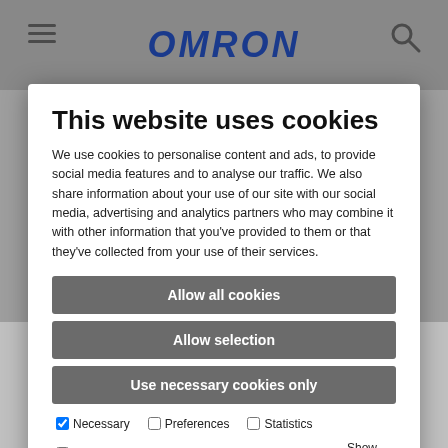[Figure (screenshot): OMRON website header with hamburger menu icon on left, OMRON logo in center in blue, and search icon on right]
OMRON blood pressure monitors receive award from stiftung Warentest (®our testing foundation)
September 5, 2020, Mannheim, Germany - Stiftung Warentest subjected 17 blood pressure monitors from various manufacturers to a detailed test for its 09/2020 issue. The OMRON RS7 Intelli IT wrist blood pressure monitor was the best among the wrist blood pressure monitors, and the only one rated as "Good".
This website uses cookies
We use cookies to personalise content and ads, to provide social media features and to analyse our traffic. We also share information about your use of our site with our social media, advertising and analytics partners who may combine it with other information that you've provided to them or that they've collected from your use of their services.
Allow all cookies
Allow selection
Use necessary cookies only
Necessary
Preferences
Statistics
Marketing
Show details
What impressed the testers, among other things, is the silent measurement. Tester were particularly happy with the OMRON connect app, which makes keeping a blood